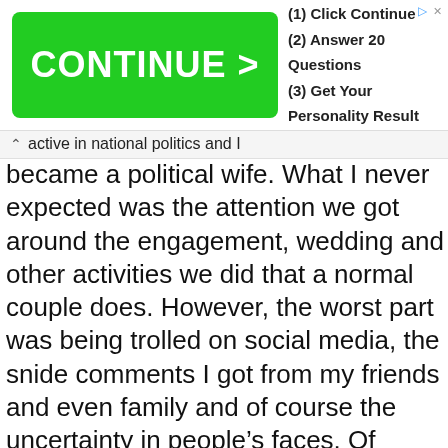[Figure (screenshot): Advertisement banner with green 'CONTINUE >' button and text '(1) Click Continue (2) Answer 20 Questions (3) Get Your Personality Result']
active in national politics and I became a political wife. What I never expected was the attention we got around the engagement, wedding and other activities we did that a normal couple does. However, the worst part was being trolled on social media, the snide comments I got from my friends and even family and of course the uncertainty in people's faces. Of course, there was the obvious issue of the fact that my husband has albinism. To be honest that was never an issue for me so it is not something I would discuss or explain. I was of course afraid of the